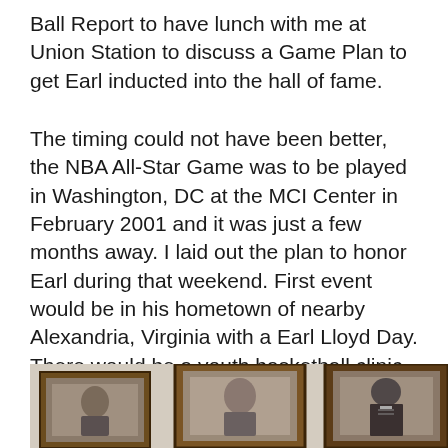Ball Report to have lunch with me at Union Station to discuss a Game Plan to get Earl inducted into the hall of fame.
The timing could not have been better, the NBA All-Star Game was to be played in Washington, DC at the MCI Center in February 2001 and it was just a few months away. I laid out the plan to honor Earl during that weekend. First event would be in his hometown of nearby Alexandria, Virginia with a Earl Lloyd Day. There would be a youth basketball clinic and a tribute in his honor later that evening in Washington, DC at the historical Bohemian Caverns. James Brown had agreed to co-host the tribute with NBA/Playground Basketball legend Sonny Hill.
[Figure (photo): Partial view of framed portrait photographs hanging on a wall, bottom of the page]